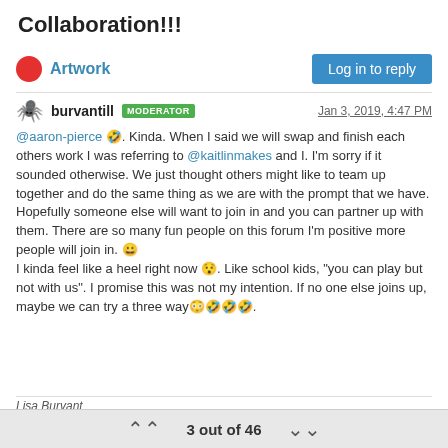Collaboration!!!
Artwork  |  Log in to reply
burvantill MODERATOR  Jan 3, 2019, 4:47 PM
@aaron-pierce 🤣. Kinda. When I said we will swap and finish each others work I was referring to @kaitlinmakes and I. I'm sorry if it sounded otherwise. We just thought others might like to team up together and do the same thing as we are with the prompt that we have. Hopefully someone else will want to join in and you can partner up with them. There are so many fun people on this forum I'm positive more people will join in. 😀
I kinda feel like a heel right now 😯. Like school kids, "you can play but not with us". I promise this was not my intention. If no one else joins up, maybe we can try a three way😳🤣🤣🤣.
Lisa Burvant
3 out of 46